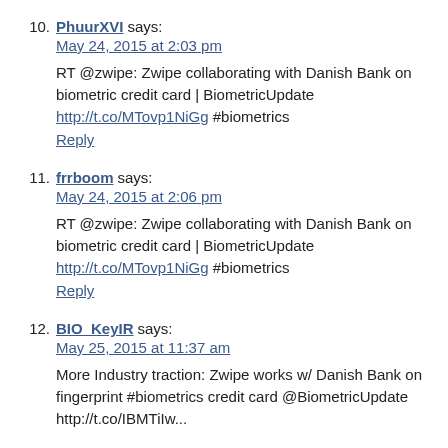10. PhuurXVI says:
May 24, 2015 at 2:03 pm
RT @zwipe: Zwipe collaborating with Danish Bank on biometric credit card | BiometricUpdate http://t.co/MTovp1NiGg #biometrics
Reply
11. frrboom says:
May 24, 2015 at 2:06 pm
RT @zwipe: Zwipe collaborating with Danish Bank on biometric credit card | BiometricUpdate http://t.co/MTovp1NiGg #biometrics
Reply
12. BIO_KeyIR says:
May 25, 2015 at 11:37 am
More Industry traction: Zwipe works w/ Danish Bank on fingerprint #biometrics credit card @BiometricUpdate http://t.co/IBMTiIw...